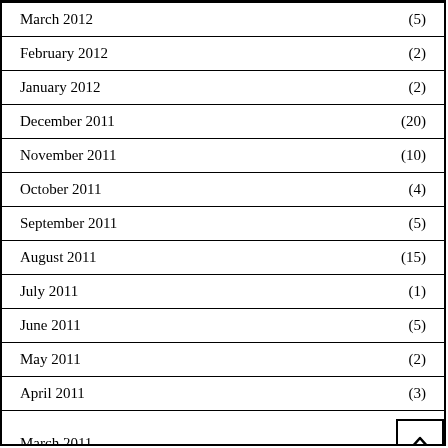March 2012 (5)
February 2012 (2)
January 2012 (2)
December 2011 (20)
November 2011 (10)
October 2011 (4)
September 2011 (5)
August 2011 (15)
July 2011 (1)
June 2011 (5)
May 2011 (2)
April 2011 (3)
March 2011
February 2011 (7)